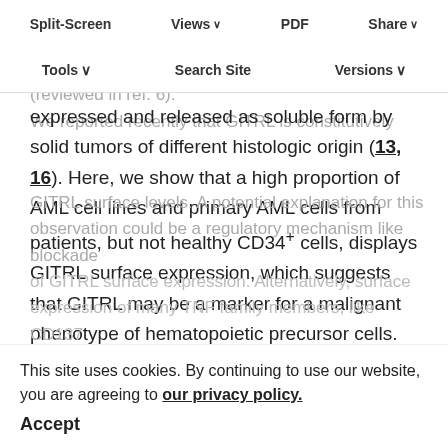Split-Screen | Views | PDF | Share | Tools | Search Site | Versions
expressed on DC, monocytes, macrophages, B cells, activated T cells, endothelial cells, osteoclasts, and various hematopoietically-derived lineages (reviewed in ref. 6). We reported recently that GITRL is constitutively expressed and released as soluble form by solid tumors of different histologic origin (13, 16). Here, we show that a high proportion of AML cell lines and primary AML cells from patients, but not healthy CD34+ cells, displays GITRL surface expression, which suggests that GITRL may be a marker for a malignant phenotype of hematopoietic precursor cells. Interestingly, presence of GITRL mRNA in leukemia cells did not always translate into detectable GITRL surface levels. A potential explanation for this observation could be a regulatory mechanism like blockade of GITRL surface expression. Alternatively, surface expression of many TNF family members, like CD137
This site uses cookies. By continuing to use our website, you are agreeing to our privacy policy. Accept